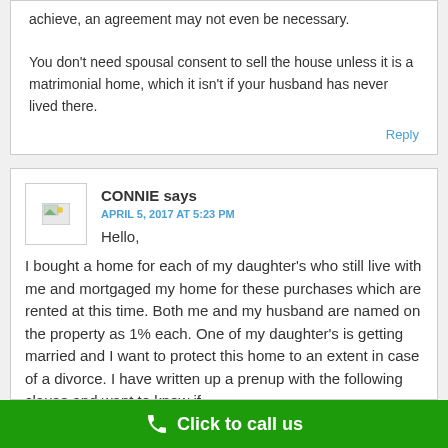achieve, an agreement may not even be necessary. You don't need spousal consent to sell the house unless it is a matrimonial home, which it isn't if your husband has never lived there.
Reply
CONNIE says
APRIL 5, 2017 AT 5:23 PM
Hello,
I bought a home for each of my daughter's who still live with me and mortgaged my home for these purchases which are rented at this time. Both me and my husband are named on the property as 1% each. One of my daughter's is getting married and I want to protect this home to an extent in case of a divorce. I have written up a prenup with the following clause and want to know if
Click to call us